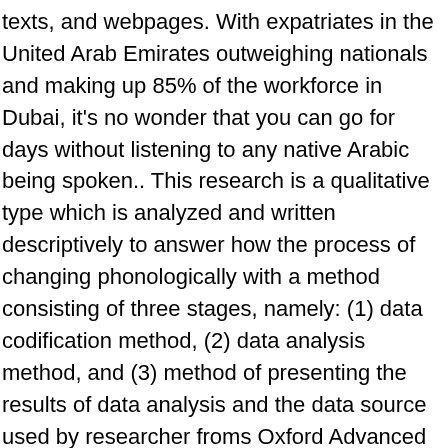texts, and webpages. With expatriates in the United Arab Emirates outweighing nationals and making up 85% of the workforce in Dubai, it's no wonder that you can go for days without listening to any native Arabic being spoken.. This research is a qualitative type which is analyzed and written descriptively to answer how the process of changing phonologically with a method consisting of three stages, namely: (1) data codification method, (2) data analysis method, and (3) method of presenting the results of data analysis and the data source used by researcher froms Oxford Advanced Learners Dictionary and Al-Maurid: A Modern Arabic-English Dictionary, and also from magazines such as Time, Bloomberg Business Week, and News Scientist. PDF translation in English - Arabic Reverso dictionary, see also 'PDF',pad',PhD',pedal', examples, definition, conjugation PDF members are mobilized and recruited by tribal leaders and sheikhs. What are the Islamic practices for a